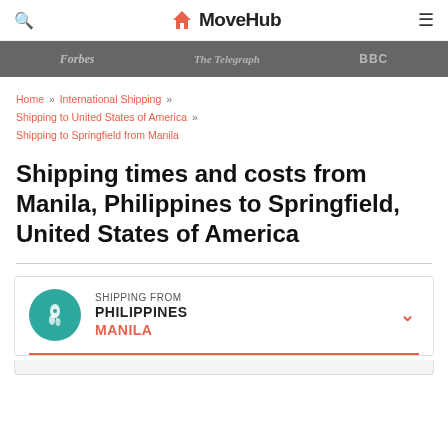MoveHub
[Figure (infographic): Press logos bar: Forbes, The Telegraph, BBC]
Home » International Shipping » Shipping to United States of America » Shipping to Springfield from Manila
Shipping times and costs from Manila, Philippines to Springfield, United States of America
SHIPPING FROM PHILIPPINES MANILA